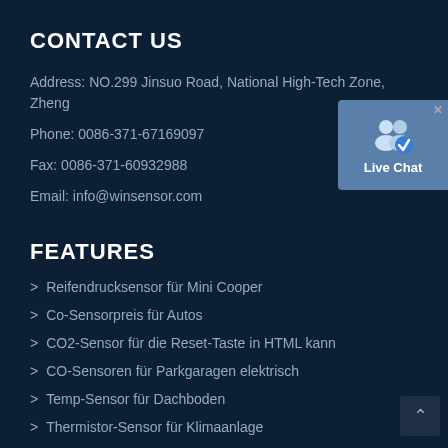CONTACT US
Address: NO.299 Jinsuo Road, National High-Tech Zone, Zhengzhou
Phone: 0086-371-67169097
Fax: 0086-371-60932988
Email: info@winsensor.com
[Figure (other): Live Chat widget button with user icon and 'Live Chat' label]
FEATURES
Reifendrucksensor für Mini Cooper
Co-Sensorpreis für Autos
CO2-Sensor für die Reset-Taste in HTML kann
CO-Sensoren für Parkgaragen elektrisch
Temp-Sensor für Dachboden
Thermistor-Sensor für Klimaanlage
CO2-Steuerung für Covid-Reißverschluss